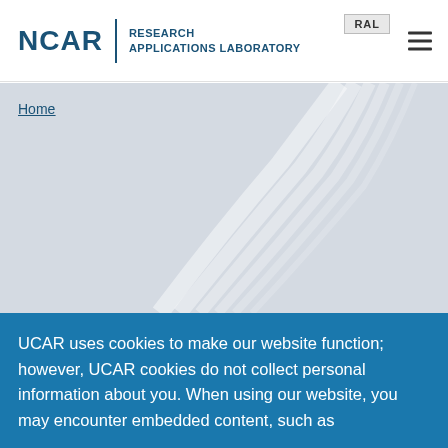NCAR | RESEARCH APPLICATIONS LABORATORY RAL
[Figure (illustration): Hero banner with light grey background and decorative curved wave lines in white/light grey]
Home
UCAR uses cookies to make our website function; however, UCAR cookies do not collect personal information about you. When using our website, you may encounter embedded content, such as